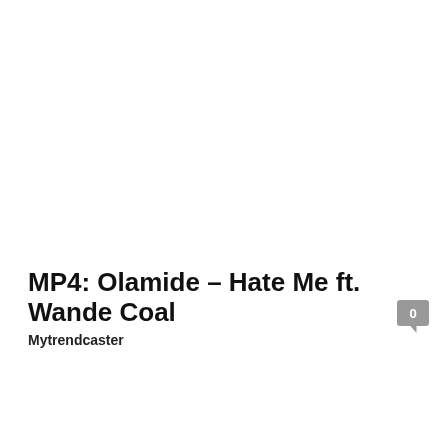MP4: Olamide – Hate Me ft. Wande Coal
Mytrendcaster